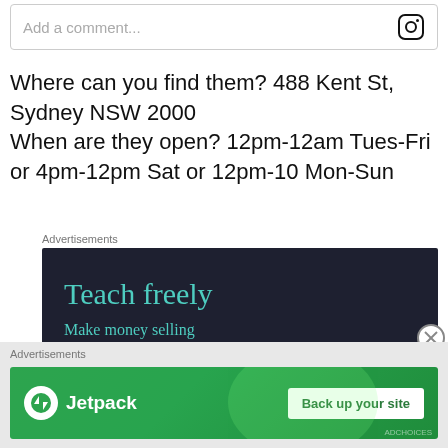[Figure (screenshot): Comment input box with Instagram icon on the right]
Where can you find them? 488 Kent St, Sydney NSW 2000
When are they open? 12pm-12am Tues-Fri or 4pm-12pm Sat or 12pm-10 Mon-Sun
Advertisements
[Figure (infographic): Dark navy advertisement banner reading 'Teach freely' and 'Make money selling online courses.']
Advertisements
[Figure (infographic): Green Jetpack advertisement banner with 'Back up your site' button]